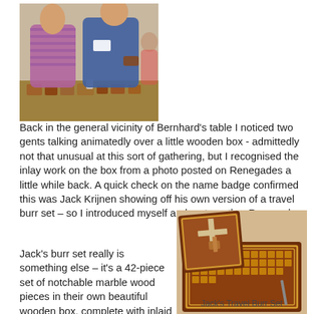[Figure (photo): Two men standing at a table covered with small wooden puzzle pieces and boxes, at a puzzle gathering event.]
Back in the general vicinity of Bernhard's table I noticed two gents talking animatedly over a little wooden box - admittedly not that unusual at this sort of gathering, but I recognised the inlay work on the box from a photo posted on Renegades a little while back. A quick check on the name badge confirmed this was Jack Krijnen showing off his own version of a travel burr set – so I introduced myself and met another Renegade.
Jack's burr set really is something else – it's a 42-piece set of notchable marble wood pieces in their own beautiful wooden box, complete with inlaid detailing on the lid – apparently Jack's first attempt at inlay work – if he tries any harder he's at
[Figure (photo): Jack's Travel Burr Set: an open wooden box with inlaid lid detailing containing 42 small notchable marble wood burr pieces arranged in a grid, with a burr puzzle partially assembled on the lid.]
Jack's Travel Burr Set